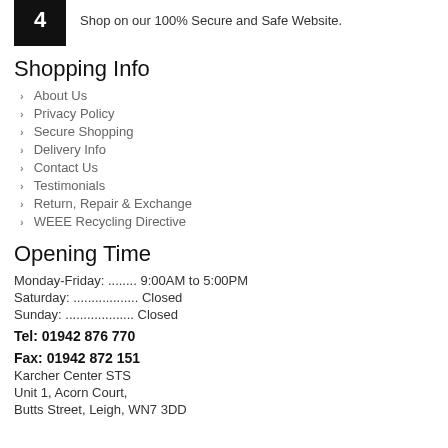3 - Buy your product from the Official Karcher Center.
4 - Shop on our 100% Secure and Safe Website.
Shopping Info
About Us
Privacy Policy
Secure Shopping
Delivery Info
Contact Us
Testimonials
Return, Repair & Exchange
WEEE Recycling Directive
Opening Time
Monday-Friday: ........ 9:00AM to 5:00PM
Saturday: .................. Closed
Sunday: .................... Closed
Tel: 01942 876 770
Fax: 01942 872 151
Karcher Center STS
Unit 1, Acorn Court,
Butts Street, Leigh, WN7 3DD